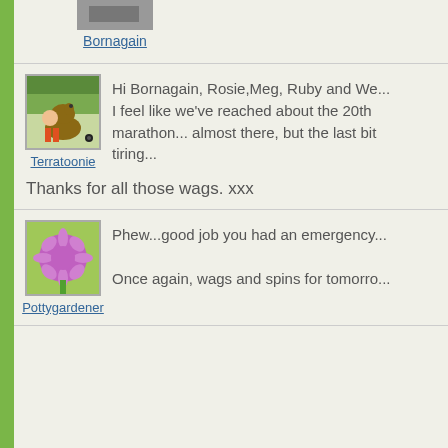[Figure (photo): Partial avatar image for user Bornagain]
Bornagain
[Figure (photo): Avatar image of a dog for user Terratoonie]
Terratoonie
Hi Bornagain, Rosie,Meg, Ruby and We... I feel like we've reached about the 20th marathon... almost there, but the last bit tiring...
Thanks for all those wags. xxx
[Figure (photo): Avatar image of a purple flower for user Pottygardener]
Pottygardener
Phew...good job you had an emergency... Once again, wags and spins for tomorro...